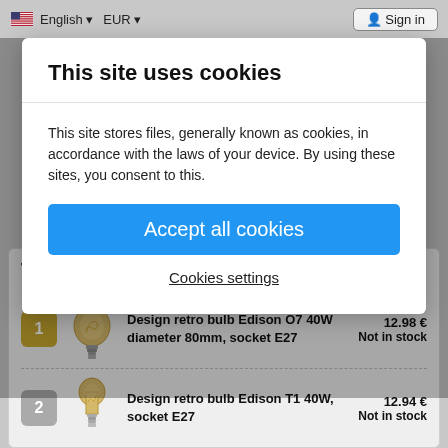English EUR Sign in
This site uses cookies
This site stores files, generally known as cookies, in accordance with the laws of your device. By using these sites, you consent to this.
Accept all cookies
Cookies settings
Top selling products in the category
1  Design retro bulb Edison O7 40W diameter 80mm, socket E27  12.98 €  Not in stock
2  Design retro bulb Edison T1 40W, socket E27  12.94 €  Not in stock